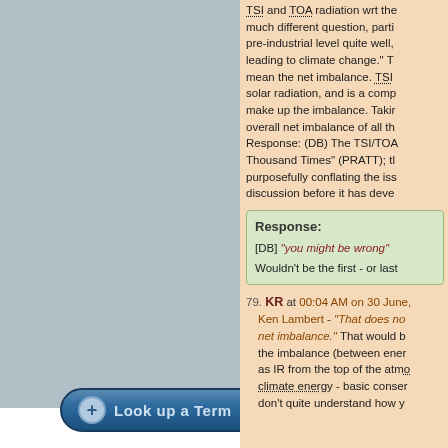TSI and TOA radiation wrt the net imbalance is a much different question, particularly since TSI tracks the pre-industrial level quite well, while the net imbalance is leading to climate change. The OP seemed to only mean the net imbalance. TSI is a component of solar radiation, and is a component of the factors that make up the imbalance. Taking them as the same thing overall net imbalance of all that... Response: (DB) The TSI/TOA ... Thousand Times (PRATT); the ... purposefully conflating the iss... discussion before it has deve...
Response:
[DB] "you might be wrong"
Wouldn't be the first - or last...
79. KR at 00:04 AM on 30 June, ...
Ken Lambert - "That does no... net imbalance." That would b... the imbalance (between ener... as IR from the top of the atmo... climate energy - basic conser... don't quite understand how yo...
[Figure (other): Look up a Term button - a rounded rectangular button with blue gradient background, a circular plus icon on the left, and light blue text reading 'Look up a Term']